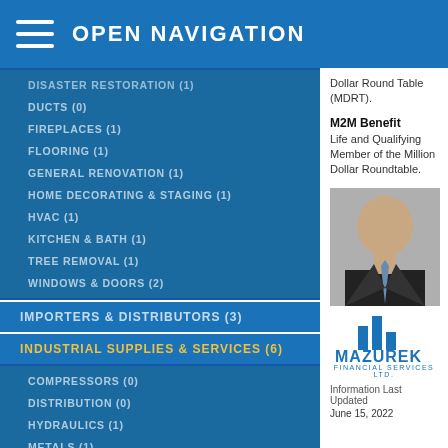OPEN NAVIGATION
DISASTER RESTORATION (1)
DUCTS (0)
FIREPLACES (1)
FLOORING (1)
GENERAL RENOVATION (1)
HOME DECORATING & STAGING (1)
HVAC (1)
KITCHEN & BATH (1)
TREE REMOVAL (1)
WINDOWS & DOORS (2)
IMPORTERS & DISTRIBUTORS (3)
INDUSTRIAL SUPPLIES & SERVICES (6)
COMPRESSORS (0)
DISTRIBUTION (0)
HYDRAULICS (1)
METALS (1)
INSURANCE (13)
LANDSCAPING & LAWN CARE (4)
Dollar Round Table (MDRT).
M2M Benefit Life and Qualifying Member of the Million Dollar Roundtable.
[Figure (photo): Headshot of a bald man in a dark suit and tie]
[Figure (logo): Mazurek Financial Services Ltd. logo with blue bar chart icon]
Information Last Updated
June 15, 2022